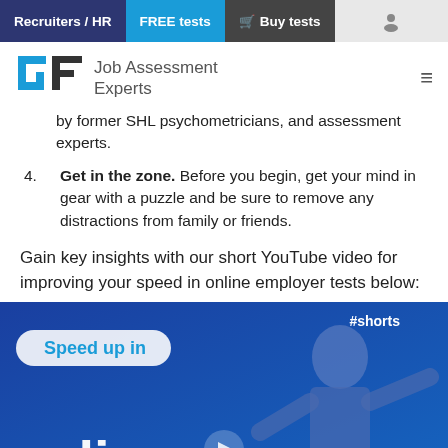Recruiters / HR | FREE tests | Buy tests
[Figure (logo): Job Assessment Experts logo with stylized GF icon in blue and dark, and text 'Job Assessment Experts']
by former SHL psychometricians, and assessment experts.
4. Get in the zone. Before you begin, get your mind in gear with a puzzle and be sure to remove any distractions from family or friends.
Gain key insights with our short YouTube video for improving your speed in online employer tests below:
[Figure (screenshot): YouTube video thumbnail showing 'Speed up in online' text with a person in a suit, #shorts tag, and play button overlay on blue background]